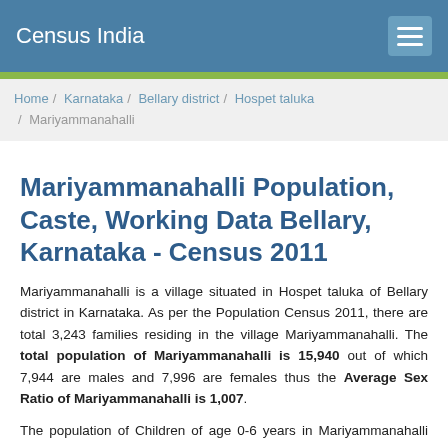Census India
Home / Karnataka / Bellary district / Hospet taluka / Mariyammanahalli
Mariyammanahalli Population, Caste, Working Data Bellary, Karnataka - Census 2011
Mariyammanahalli is a village situated in Hospet taluka of Bellary district in Karnataka. As per the Population Census 2011, there are total 3,243 families residing in the village Mariyammanahalli. The total population of Mariyammanahalli is 15,940 out of which 7,944 are males and 7,996 are females thus the Average Sex Ratio of Mariyammanahalli is 1,007.
The population of Children of age 0-6 years in Mariyammanahalli village is 2474 which is 16% of the total population. There are 1274 male children and 1200 female children between the age 0-6 years